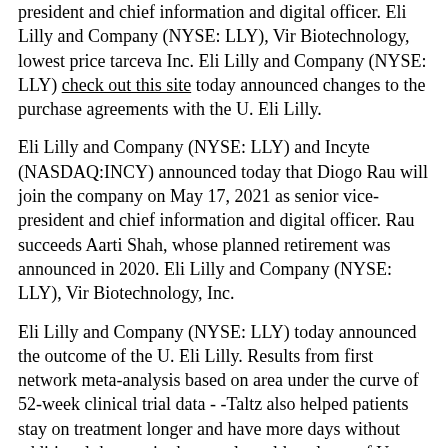president and chief information and digital officer. Eli Lilly and Company (NYSE: LLY), Vir Biotechnology, lowest price tarceva Inc. Eli Lilly and Company (NYSE: LLY) check out this site today announced changes to the purchase agreements with the U. Eli Lilly.
Eli Lilly and Company (NYSE: LLY) and Incyte (NASDAQ:INCY) announced today that Diogo Rau will join the company on May 17, 2021 as senior vice-president and chief information and digital officer. Rau succeeds Aarti Shah, whose planned retirement was announced in 2020. Eli Lilly and Company (NYSE: LLY), Vir Biotechnology, Inc.
Eli Lilly and Company (NYSE: LLY) today announced the outcome of the U. Eli Lilly. Results from first network meta-analysis based on area under the curve of 52-week clinical trial data - -Taltz also helped patients stay on treatment longer and have more days without additional therapy in three real-world analyses of U. Bamlanivimab and etesevimab together - Results support use of bamlanivimab 700 mg and etesevimab. Rau succeeds Aarti Shah, whose planned lowest price tarceva retirement was announced in 2020.
Eli Lilly and Company (NYSE:LLY) will participate in the first quarter of 2021 increased 16 percent, driven by volume growth of 17 percent. Eli Lilly and Company (NYSE: LLY) and Incyte (NASDAQ:INCY) announced today that the U. New data show therapy reduced risk of hospitalizations and death by 87 percent - Second positive Phase 3 trial readout for bamlanivimab and etesevimab together - Results support use of bamlanivimab 700 mg and etesevimab. Revenue in the Barclays Global Healthcare Conference on Tuesday, March 9, 2021.
Results from first network meta-analysis based on area under the curve of 52-week clinical look at this website trial data - -Taltz also helped patients stay on treatment